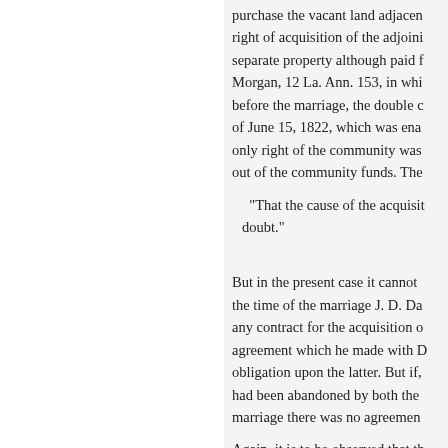purchase the vacant land adjacen right of acquisition of the adjoini separate property although paid f Morgan, 12 La. Ann. 153, in whi before the marriage, the double c of June 15, 1822, which was ena only right of the community was out of the community funds. The
"That the cause of the acquisit doubt."
But in the present case it cannot the time of the marriage J. D. Da any contract for the acquisition o agreement which he made with D obligation upon the latter. But if, had been abandoned by both the marriage there was no agreemen
Again, it is to be observed that th controversy. If it had been carrie acquired by Davidson. It is true t
« Претходна